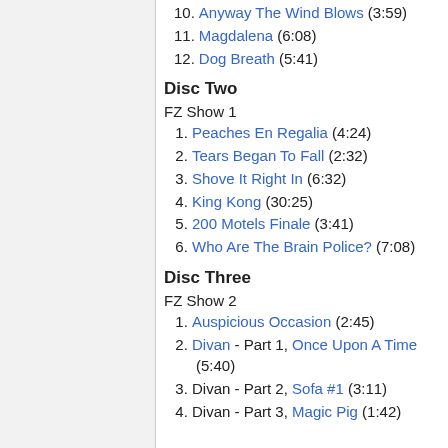10. Anyway The Wind Blows (3:59)
11. Magdalena (6:08)
12. Dog Breath (5:41)
Disc Two
FZ Show 1
1. Peaches En Regalia (4:24)
2. Tears Began To Fall (2:32)
3. Shove It Right In (6:32)
4. King Kong (30:25)
5. 200 Motels Finale (3:41)
6. Who Are The Brain Police? (7:08)
Disc Three
FZ Show 2
1. Auspicious Occasion (2:45)
2. Divan - Part 1, Once Upon A Time (5:40)
3. Divan - Part 2, Sofa #1 (3:11)
4. Divan - Part 3, Magic Pig (1:42)